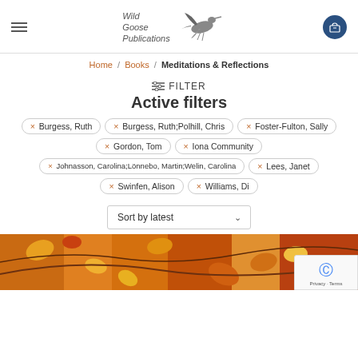[Figure (logo): Wild Goose Publications logo with flying goose bird illustration and text]
Home / Books / Meditations & Reflections
FILTER
Active filters
x Burgess, Ruth
x Burgess, Ruth;Polhill, Chris
x Foster-Fulton, Sally
x Gordon, Tom
x Iona Community
x Johnasson, Carolina;Lönnebo, Martin;Welin, Carolina
x Lees, Janet
x Swinfen, Alison
x Williams, Di
Sort by latest
[Figure (photo): Autumn leaves in orange and yellow tones at the bottom of the page]